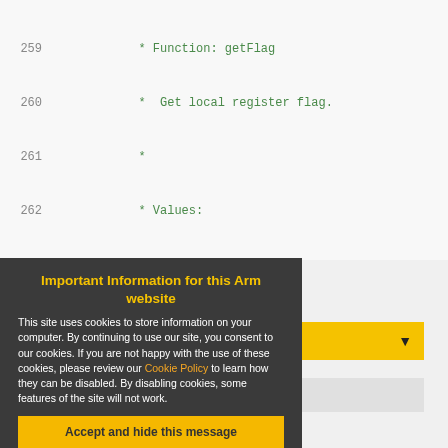[Figure (screenshot): Source code editor screenshot showing lines 259-271 of a C++ header file with syntax highlighting. Lines 259-264 show green comment text, line 265 shows blue 'bool' keyword with black 'getFlag(flag_list flag);', lines 266-267 show closing braces, line 269 shows green comment '/* !_SHT15_HPP_ */', line 270 shows red '#endif'.]
[Figure (screenshot): Website background showing 'Repository toolbox' heading, a yellow dropdown bar with 'Studio' text and arrow, a grey bar with 'desktop IDE' text, and 'Repository details' text at bottom.]
Important Information for this Arm website
This site uses cookies to store information on your computer. By continuing to use our site, you consent to our cookies. If you are not happy with the use of these cookies, please review our Cookie Policy to learn how they can be disabled. By disabling cookies, some features of the site will not work.
Accept and hide this message